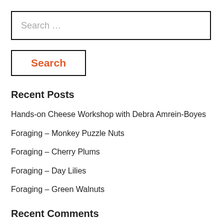Search …
Search
Recent Posts
Hands-on Cheese Workshop with Debra Amrein-Boyes
Foraging – Monkey Puzzle Nuts
Foraging – Cherry Plums
Foraging – Day Lilies
Foraging – Green Walnuts
Recent Comments